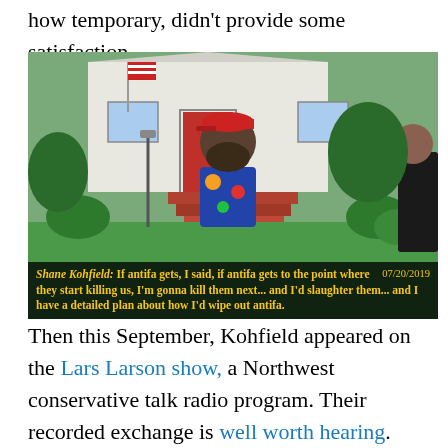how temporary, didn't provide some satisfaction.
[Figure (photo): Video screenshot of a bearded man wearing a red cap and colorful shirt, speaking outdoors in front of a white house with red brick steps and an American flag. A subtitle reads: 'Shane Kohfield: If antifa gets, I said, if antifa gets to the point where they start killing us, I'm gonna kill them next... and I'd slaughter them... and I have a detailed plan about how I'd wipe out antifa.' Date shown: 07/20/2019]
Then this September, Kohfield appeared on the Lars Larson show, a Northwest conservative talk radio program. Their recorded exchange is well worth hearing. Kohfield sounded confused and nearly incoherent at first. Despite everything, I immediately felt badly for him. It should have been obvious this was someone who needed help, not a person in any condition to make public